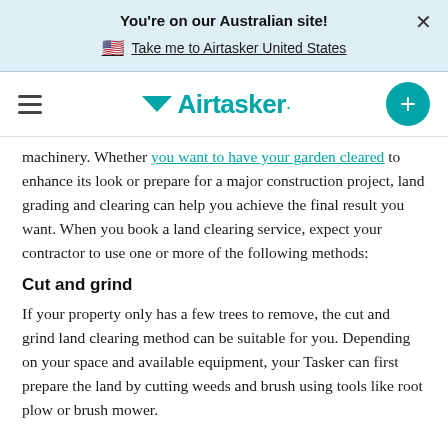You're on our Australian site!
Take me to Airtasker United States
[Figure (logo): Airtasker logo with teal downward arrow and teal text, hamburger menu icon on left, teal plus button on right]
machinery. Whether you want to have your garden cleared to enhance its look or prepare for a major construction project, land grading and clearing can help you achieve the final result you want. When you book a land clearing service, expect your contractor to use one or more of the following methods:
Cut and grind
If your property only has a few trees to remove, the cut and grind land clearing method can be suitable for you. Depending on your space and available equipment, your Tasker can first prepare the land by cutting weeds and brush using tools like root plow or brush mower.